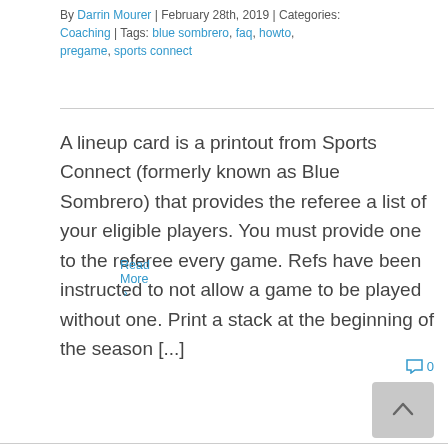By Darrin Mourer | February 28th, 2019 | Categories: Coaching | Tags: blue sombrero, faq, howto, pregame, sports connect
A lineup card is a printout from Sports Connect (formerly known as Blue Sombrero) that provides the referee a list of your eligible players. You must provide one to the referee every game. Refs have been instructed to not allow a game to be played without one. Print a stack at the beginning of the season [...]
Read More >
0